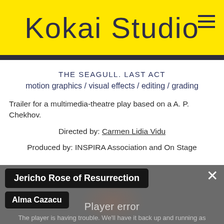Kokai Studio
THE SEAGULL. LAST ACT
motion graphics / visual effects / editing / grading
Trailer for a multimedia-theatre play based on a A. P. Chekhov.
Directed by: Carmen Lidia Vidu
Produced by: INSPIRA Association and On Stage
[Figure (screenshot): Dark grey video player area showing a blurred figure/plant silhouette in background with a 'Player error' overlay message and two black label overlays: 'Jericho Rose of Resurrection' and 'Alma Cazacu', plus a close (×) button. Player error message reads: 'Player error. The player is having trouble. We'll have it back up and running as']
Jericho Rose of Resurrection
Alma Cazacu
Player error
The player is having trouble. We'll have it back up and running as